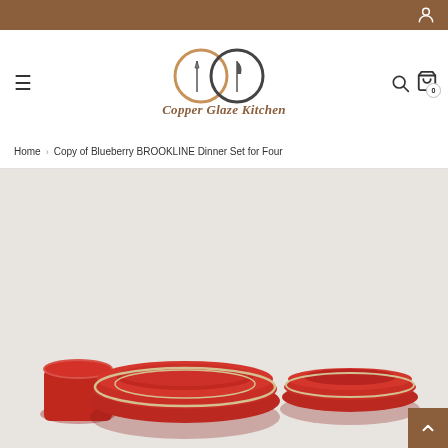Copper Glaze Kitchen - navigation header with logo, hamburger menu, search and cart icons
Home › Copy of Blueberry BROOKLINE Dinner Set for Four
[Figure (photo): Product photo showing red/maroon ceramic dinnerware set including a mug, dinner plate, and bowl on a white background]